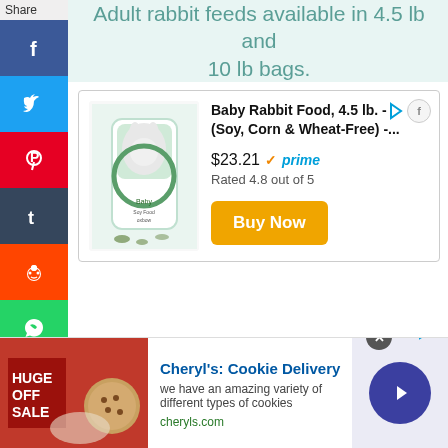Adult rabbit feeds available in 4.5 lb and 10 lb bags.
[Figure (other): Social media share sidebar with Facebook, Twitter, Pinterest, Tumblr, Reddit, WhatsApp, Messenger icons]
[Figure (other): Baby Rabbit Food product bag image]
Baby Rabbit Food, 4.5 lb. - (Soy, Corn & Wheat-Free) -...
$23.21 ✓prime
Rated 4.8 out of 5
Buy Now
Cheryl's: Cookie Delivery
we have an amazing variety of different types of cookies
cheryls.com